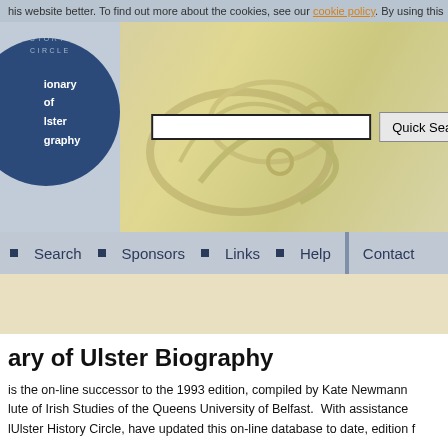his website better. To find out more about the cookies, see our cookie policy. By using this
[Figure (logo): Dictionary of Ulster Biography circular logo with dark blue background and white text, with decorative floral background in the header area]
[Figure (other): Search input box and Quick Search button on decorative pale yellow background]
Search • Sponsors • Links • Help • Contact
ary of Ulster Biography
is the on-line successor to the 1993 edition, compiled by Kate Newmann lute of Irish Studies of the Queens University of Belfast. With assistance lUlster History Circle, have updated this on-line database to date, edition f